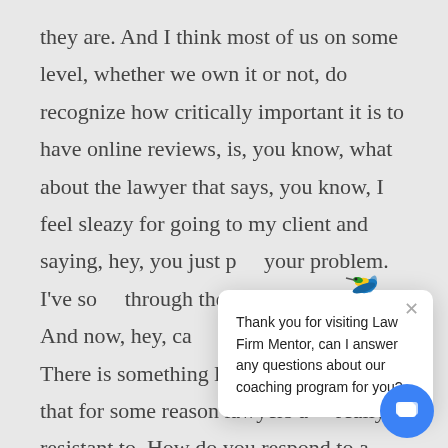they are. And I think most of us on some level, whether we own it or not, do recognize how critically important it is to have online reviews, is, you know, what about the lawyer that says, you know, I feel sleazy for going to my client and saying, hey, you just p[…] your problem. I've so[…] through the trauma, y[…] life. And now, hey, ca[…] me an online review? There is something like that quid pro quo that for some reason lawyers a[…] really resistant to. How do you respond to a
[Figure (screenshot): Chat popup widget from Law Firm Mentor showing hummingbird logo and message: 'Thank you for visiting Law Firm Mentor, can I answer any questions about our coaching program for you?' with a close X button. A blue circular chat button appears at bottom right.]